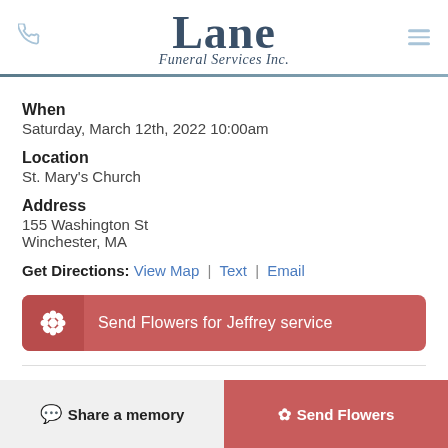Lane Funeral Services Inc.
When
Saturday, March 12th, 2022 10:00am
Location
St. Mary's Church
Address
155 Washington St
Winchester, MA
Get Directions: View Map | Text | Email
Send Flowers for Jeffrey service
Share a memory | Send Flowers